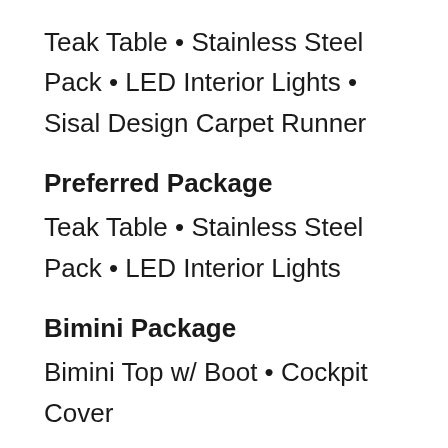Teak Table • Stainless Steel Pack • LED Interior Lights • Sisal Design Carpet Runner
Preferred Package
Teak Table • Stainless Steel Pack • LED Interior Lights
Bimini Package
Bimini Top w/ Boot • Cockpit Cover